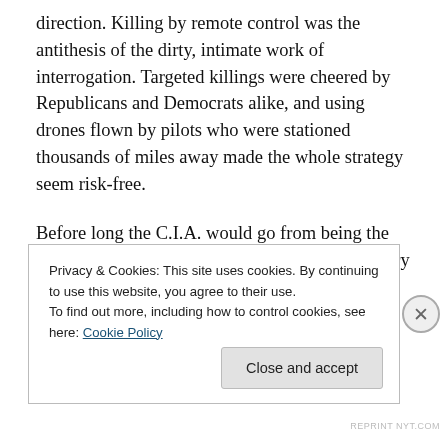direction. Killing by remote control was the antithesis of the dirty, intimate work of interrogation. Targeted killings were cheered by Republicans and Democrats alike, and using drones flown by pilots who were stationed thousands of miles away made the whole strategy seem risk-free.
Before long the C.I.A. would go from being the long-term jailer of America’s enemies to a military organization that erased them.
Not long before, the agency had been deeply ambivalent
Privacy & Cookies: This site uses cookies. By continuing to use this website, you agree to their use.
To find out more, including how to control cookies, see here: Cookie Policy
Close and accept